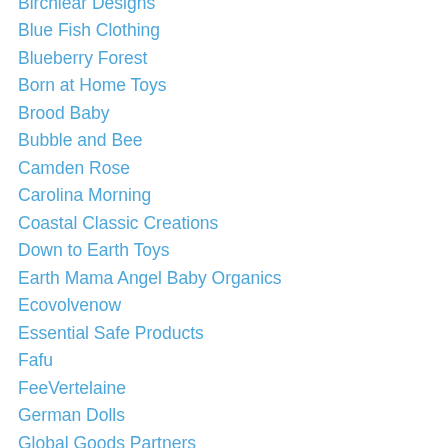Birchlear Designs
Blue Fish Clothing
Blueberry Forest
Born at Home Toys
Brood Baby
Bubble and Bee
Camden Rose
Carolina Morning
Coastal Classic Creations
Down to Earth Toys
Earth Mama Angel Baby Organics
Ecovolvenow
Essential Safe Products
Fafu
FeeVertelaine
German Dolls
Global Goods Partners
Good things. Green things.
Goodnight Room NYC
Green Leaf Living